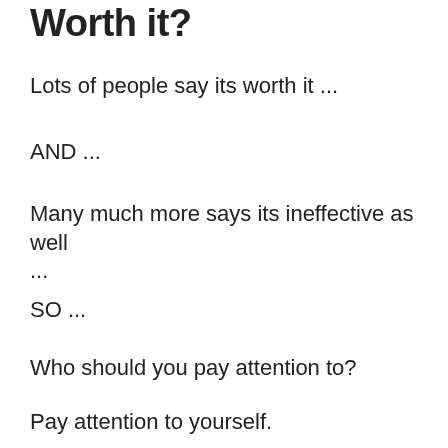Worth it?
Lots of people say its worth it ...
AND ...
Many much more says its ineffective as well ...
SO ...
Who should you pay attention to?
Pay attention to yourself.
If ClickFunnels is worth it for you is to